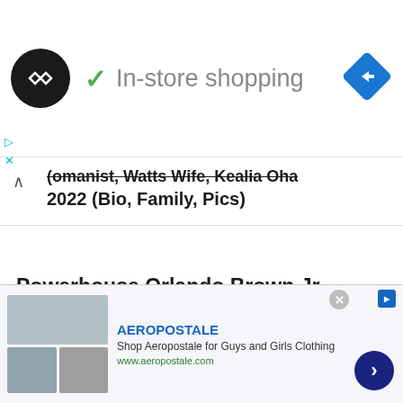[Figure (screenshot): Ad banner with circular logo (dark background with double-arrow icon), green checkmark, text 'In-store shopping', and blue diamond navigation arrow icon on right]
(strikethrough/truncated) ...omanist, Watts Wife, Kealia Ohai 2022 (Bio, Family, Pics)
Powerhouse Orlando Brown Jr Girlfriend, Holly Luyah (Net Worth, Trade, Parents) 2022
...o is Ryan Tannehill's Wife, Lauren
[Figure (screenshot): Aeropostale advertisement with clothing thumbnails, brand name in blue, description 'Shop Aeropostale for Guys and Girls Clothing', URL www.aeropostale.com, close button, and blue circular next arrow button]